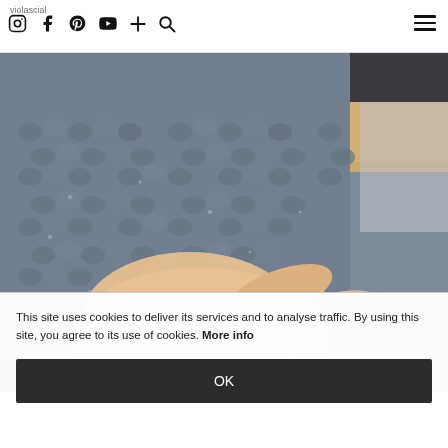violascial [social media icons: Instagram, Facebook, Pinterest, YouTube, Plus, Search] [hamburger menu]
[Figure (photo): Close-up of a hand holding a crochet hook working on grey/dark blue knitted or crocheted fabric, on a wooden surface with a light-coloured frame visible at top right]
[Figure (photo): Partial view of dark knitted/crocheted fabric, cropped at bottom of page]
This site uses cookies to deliver its services and to analyse traffic. By using this site, you agree to its use of cookies. More info
OK